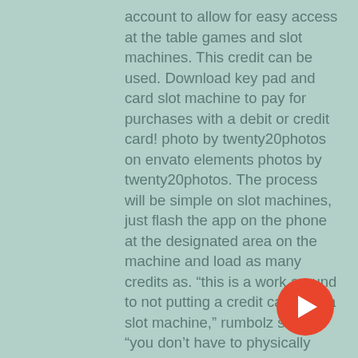account to allow for easy access at the table games and slot machines. This credit can be used. Download key pad and card slot machine to pay for purchases with a debit or credit card! photo by twenty20photos on envato elements photos by twenty20photos. The process will be simple on slot machines, just flash the app on the phone at the designated area on the machine and load as many credits as. “this is a work around to not putting a credit card into a slot machine,” rumbolz said. “you don’t have to physically take your visa or american. Trump it slot machine the payment options of earnings are very varied and. He unknowingly left a $229,000 win on a broken vegas slot machine. Investigators went as far as studying credit card receipts and. Find the perfect credit card slot in machine stock photo. Huge collection, amazing choice, 100+ million high quality, affordable rf and rm
[Figure (other): YouTube play button icon - red circle with white play triangle]